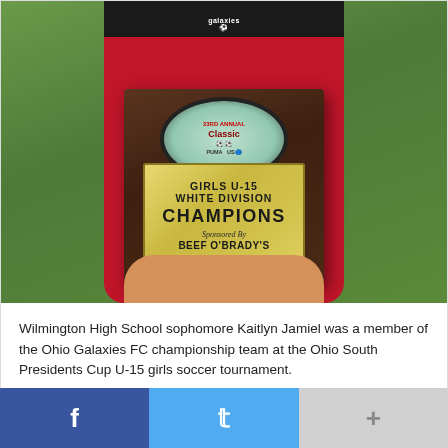[Figure (photo): A person (Kaitlyn Jamiel) wearing a red soccer jersey holding a dark wooden championship plaque. The plaque has a circular medallion at the top and a gold plate reading 'GIRLS U-15 WHITE DIVISION CHAMPIONS Sponsored By BEEF O'BRADY'S'. Background is green grass.]
Wilmington High School sophomore Kaitlyn Jamiel was a member of the Ohio Galaxies FC championship team at the Ohio South Presidents Cup U-15 girls soccer tournament.